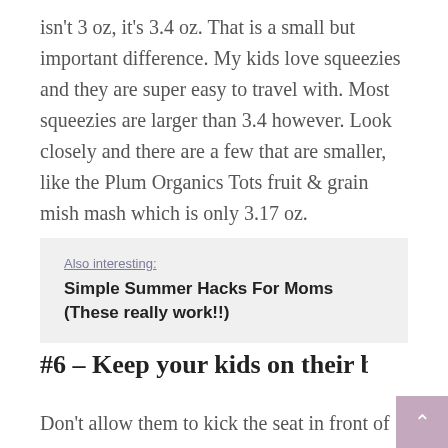isn't 3 oz, it's 3.4 oz. That is a small but important difference. My kids love squeezies and they are super easy to travel with. Most squeezies are larger than 3.4 however. Look closely and there are a few that are smaller, like the Plum Organics Tots fruit & grain mish mash which is only 3.17 oz.
Also interesting:
Simple Summer Hacks For Moms
(These really work!!)
#6 – Keep your kids on their best behavio
Don't allow them to kick the seat in front of you,